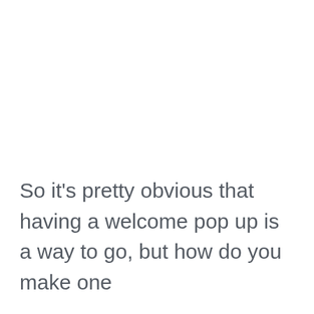So it's pretty obvious that having a welcome pop up is a way to go, but how do you make one